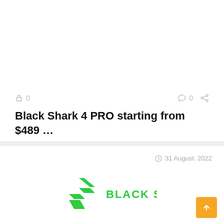0  0
Black Shark 4 PRO starting from $489 …
GET DEAL
31 August. 2022
[Figure (logo): Black Shark logo — green stylized S with BLACK SHARK text in green]